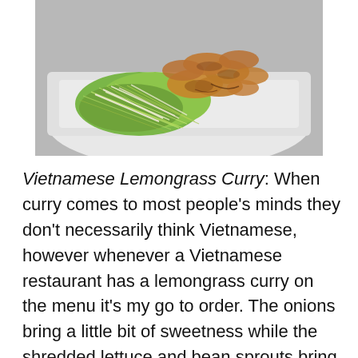[Figure (photo): A plate of Vietnamese Lemongrass Curry with shredded lettuce, bean sprouts, and cooked chicken pieces on a white rectangular plate, placed on a gray surface.]
Vietnamese Lemongrass Curry: When curry comes to most people's minds they don't necessarily think Vietnamese, however whenever a Vietnamese restaurant has a lemongrass curry on the menu it's my go to order. The onions bring a little bit of sweetness while the shredded lettuce and bean sprouts bring a